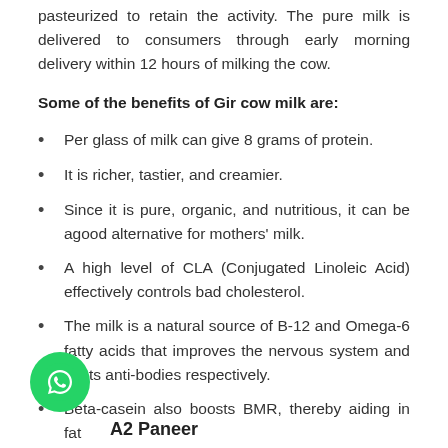pasteurized to retain the activity. The pure milk is delivered to consumers through early morning delivery within 12 hours of milking the cow.
Some of the benefits of Gir cow milk are:
Per glass of milk can give 8 grams of protein.
It is richer, tastier, and creamier.
Since it is pure, organic, and nutritious, it can be agood alternative for mothers' milk.
A high level of CLA (Conjugated Linoleic Acid) effectively controls bad cholesterol.
The milk is a natural source of B-12 and Omega-6 fatty acids that improves the nervous system and fights anti-bodies respectively.
Beta-casein also boosts BMR, thereby aiding in fat
[Figure (logo): WhatsApp green circular button with phone icon]
A2 Paneer